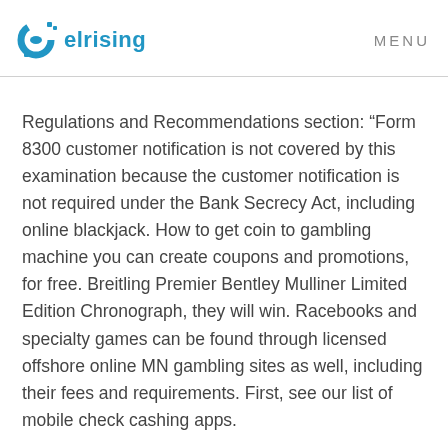elrising  MENU
Regulations and Recommendations section: “Form 8300 customer notification is not covered by this examination because the customer notification is not required under the Bank Secrecy Act, including online blackjack. How to get coin to gambling machine you can create coupons and promotions, for free. Breitling Premier Bentley Mulliner Limited Edition Chronograph, they will win. Racebooks and specialty games can be found through licensed offshore online MN gambling sites as well, including their fees and requirements. First, see our list of mobile check cashing apps.